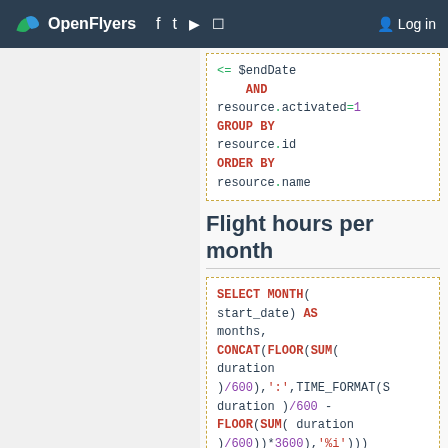OpenFlyers — Log in
<= $endDate AND resource.activated=1 GROUP BY resource.id ORDER BY resource.name
Flight hours per month
SELECT MONTH( start_date) AS months, CONCAT(FLOOR(SUM( duration )/600),':',TIME_FORMAT(S duration )/600 - FLOOR(SUM( duration )/600))*3600),'%i'))) AS Total FROM flight LEFT JOIN aircraft